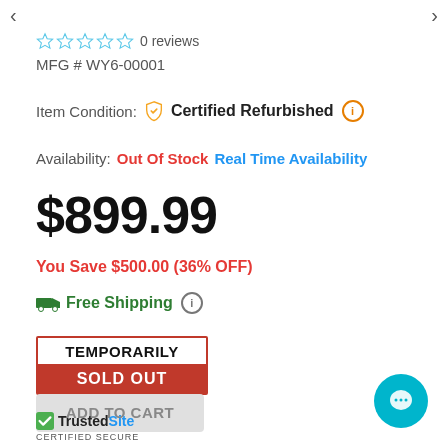MFG # WY6-00001   0 reviews
Item Condition: Certified Refurbished
Availability: Out Of Stock   Real Time Availability
$899.99
You Save $500.00 (36% OFF)
Free Shipping
TEMPORARILY SOLD OUT
ADD TO CART
TrustedSite CERTIFIED SECURE